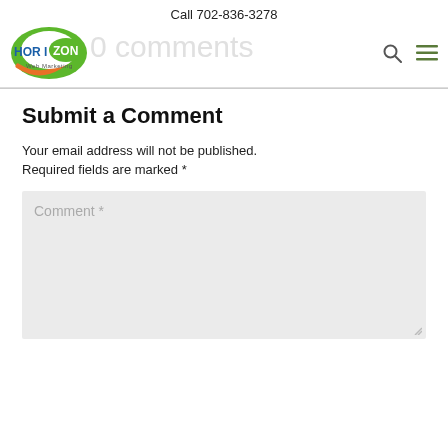Call 702-836-3278
[Figure (logo): Horizon Web Marketing logo with green ellipse and orange arc]
0 comments
Submit a Comment
Your email address will not be published. Required fields are marked *
Comment *